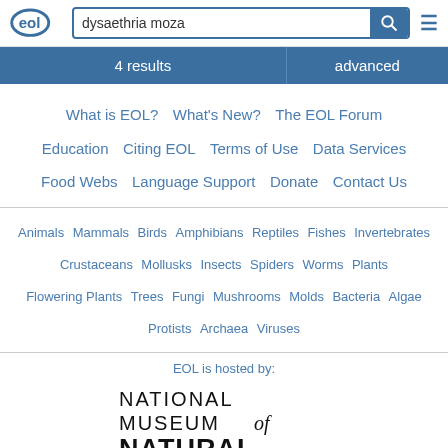EOL | dysaethria moza | 4 results | advanced
What is EOL?  What's New?  The EOL Forum  Education  Citing EOL  Terms of Use  Data Services  Food Webs  Language Support  Donate  Contact Us
Animals  Mammals  Birds  Amphibians  Reptiles  Fishes  Invertebrates  Crustaceans  Mollusks  Insects  Spiders  Worms  Plants  Flowering Plants  Trees  Fungi  Mushrooms  Molds  Bacteria  Algae  Protists  Archaea  Viruses
EOL is hosted by:
[Figure (logo): National Museum of Natural History Smithsonian logo]